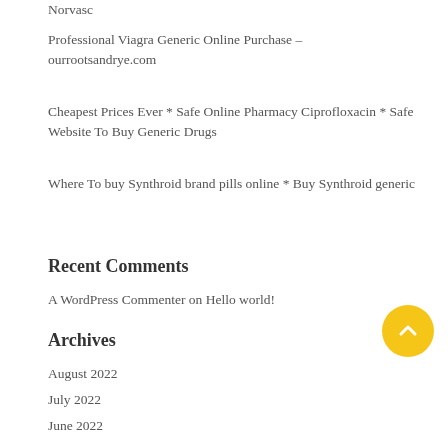Norvasc
Professional Viagra Generic Online Purchase – ourrootsandrye.com
Cheapest Prices Ever * Safe Online Pharmacy Ciprofloxacin * Safe Website To Buy Generic Drugs
Where To buy Synthroid brand pills online * Buy Synthroid generic
Recent Comments
A WordPress Commenter on Hello world!
Archives
August 2022
July 2022
June 2022
May 2022